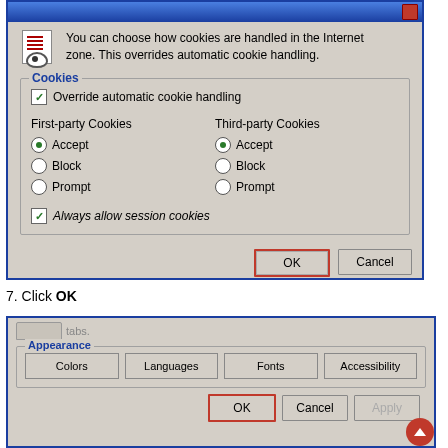[Figure (screenshot): Windows Internet Options cookie settings dialog showing Override automatic cookie handling checkbox checked, First-party and Third-party Cookies both set to Accept, Always allow session cookies checked, with OK button highlighted in red border]
7. Click OK
[Figure (screenshot): Windows Internet Options dialog showing Appearance section with Colors, Languages, Fonts, Accessibility buttons, and OK button highlighted in red border at bottom]